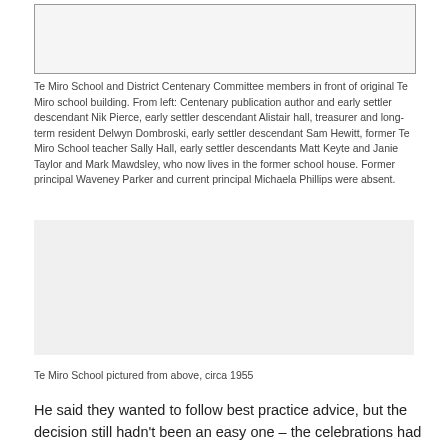[Figure (photo): Photograph of Te Miro School and District Centenary Committee members in front of original Te Miro school building]
Te Miro School and District Centenary Committee members in front of original Te Miro school building. From left: Centenary publication author and early settler descendant Nik Pierce, early settler descendant Alistair hall, treasurer and long-term resident Delwyn Dombroski, early settler descendant Sam Hewitt, former Te Miro School teacher Sally Hall, early settler descendants Matt Keyte and Janie Taylor and Mark Mawdsley, who now lives in the former school house. Former principal Waveney Parker and current principal Michaela Phillips were absent.
[Figure (photo): Aerial photograph of Te Miro School, circa 1955]
Te Miro School pictured from above, circa 1955
He said they wanted to follow best practice advice, but the decision still hadn't been an easy one – the celebrations had